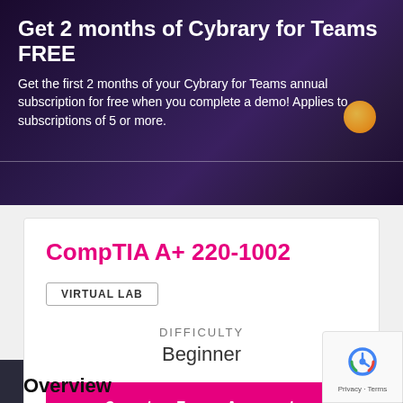Get 2 months of Cybrary for Teams FREE
Get the first 2 months of your Cybrary for Teams annual subscription for free when you complete a demo! Applies to subscriptions of 5 or more.
CompTIA A+ 220-1002
VIRTUAL LAB
DIFFICULTY
Beginner
Create Free Account
Overview